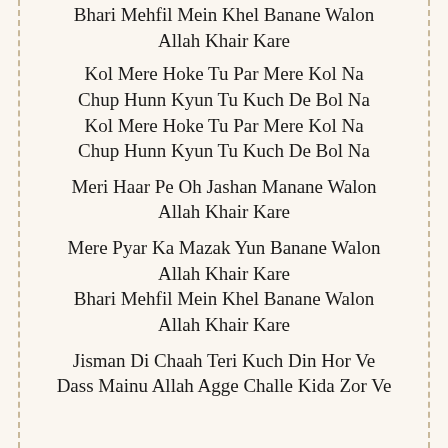Bhari Mehfil Mein Khel Banane Walon Allah Khair Kare
Kol Mere Hoke Tu Par Mere Kol Na Chup Hunn Kyun Tu Kuch De Bol Na Kol Mere Hoke Tu Par Mere Kol Na Chup Hunn Kyun Tu Kuch De Bol Na
Meri Haar Pe Oh Jashan Manane Walon Allah Khair Kare
Mere Pyar Ka Mazak Yun Banane Walon Allah Khair Kare Bhari Mehfil Mein Khel Banane Walon Allah Khair Kare
Jisman Di Chaah Teri Kuch Din Hor Ve Dass Mainu Allah Agge Challe Kida Zor Ve